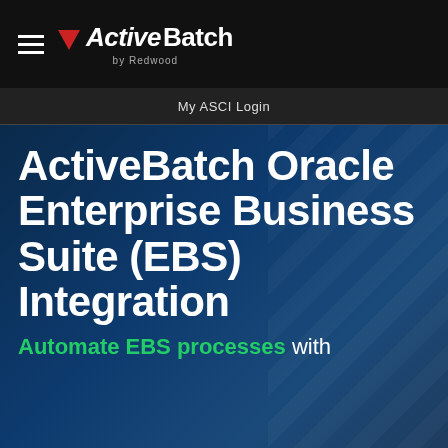[Figure (logo): ActiveBatch by Redwood logo with red triangle icon on black navigation bar with hamburger menu]
My ASCI Login
ActiveBatch Oracle Enterprise Business Suite (EBS) Integration
Automate EBS processes with
This site uses cookies to offer you a better experience. Please review our Privacy Policy for additional information.
Accept